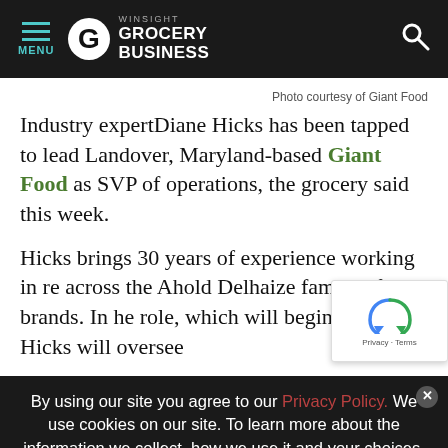MENU | WINSIGHT GROCERY BUSINESS
Photo courtesy of Giant Food
Industry expertDiane Hicks has been tapped to lead Landover, Maryland-based Giant Food as SVP of operations, the grocery said this week.
Hicks brings 30 years of experience working in re across the Ahold Delhaize family of brands. In he role, which will begin Sept. 12, Hicks will oversee
By using our site you agree to our Privacy Policy. We use cookies on our site. To learn more about the information we collect, how we use it and your choices, visit the cookies section of our Privacy Policy.